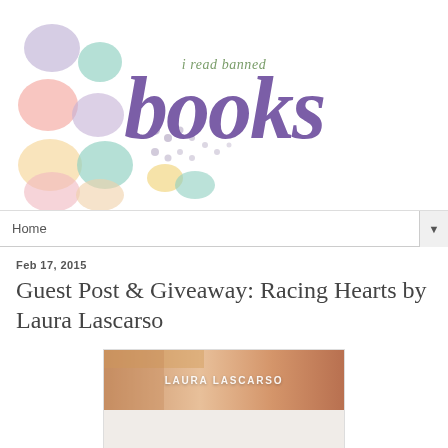[Figure (logo): Blog header logo for 'i read banned books' with colorful pastel blob shapes on left and large purple italic script text 'books' with smaller text 'i read banned' above it]
Home
Feb 17, 2015
Guest Post & Giveaway: Racing Hearts by Laura Lascarso
[Figure (photo): Book banner image for Laura Lascarso showing close-up of people with text 'LAURA LASCARSO' overlaid]